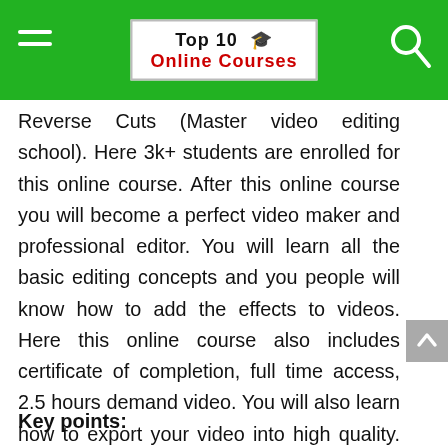Top 10 🎓 Online Courses
Reverse Cuts (Master video editing school). Here 3k+ students are enrolled for this online course. After this online course you will become a perfect video maker and professional editor. You will learn all the basic editing concepts and you people will know how to add the effects to videos. Here this online course also includes certificate of completion, full time access, 2.5 hours demand video. You will also learn how to export your video into high quality. You will also know how to edit the videos in different programs like screenflow, premier pro, sony vegas pro, camtasia and so on.
Key points: